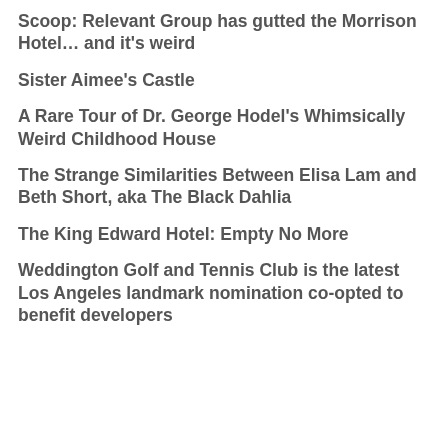Scoop: Relevant Group has gutted the Morrison Hotel… and it's weird
Sister Aimee's Castle
A Rare Tour of Dr. George Hodel's Whimsically Weird Childhood House
The Strange Similarities Between Elisa Lam and Beth Short, aka The Black Dahlia
The King Edward Hotel: Empty No More
Weddington Golf and Tennis Club is the latest Los Angeles landmark nomination co-opted to benefit developers